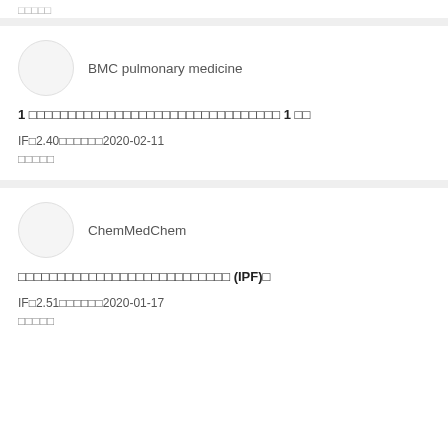……
BMC pulmonary medicine
1 □□□□□□□□□□□□□□□□□□□□□□□□□□□□□□□ 1 □□
IF□2.40□□□□□□2020-02-11
□□□□□
ChemMedChem
□□□□□□□□□□□□□□□□□□□□□□□□□□□ (IPF)□
IF□2.51□□□□□□2020-01-17
□□□□□